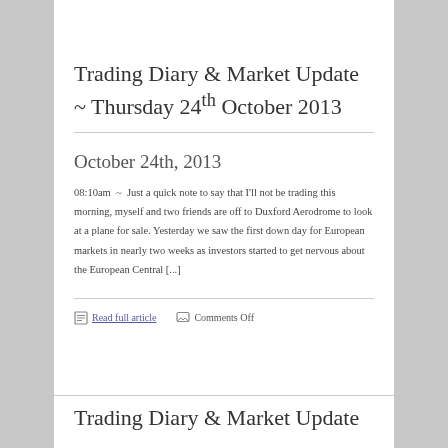Trading Diary & Market Update ~ Thursday 24th October 2013
October 24th, 2013
08:10am ~ Just a quick note to say that I'll not be trading this morning, myself and two friends are off to Duxford Aerodrome to look at a plane for sale. Yesterday we saw the first down day for European markets in nearly two weeks as investors started to get nervous about the European Central [...]
Read full article   Comments Off
Trading Diary & Market Update